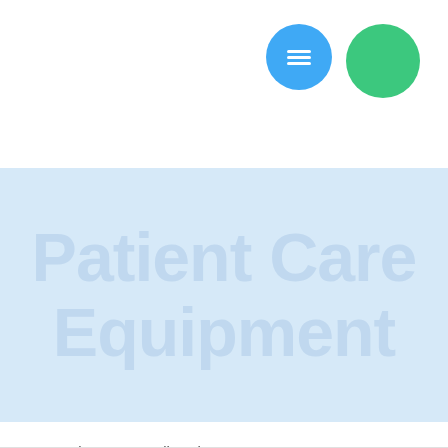[Figure (other): Navigation header with a blue circle menu icon (hamburger lines) and a green circle button on the top right]
Patient Care Equipment
Products   Full Body